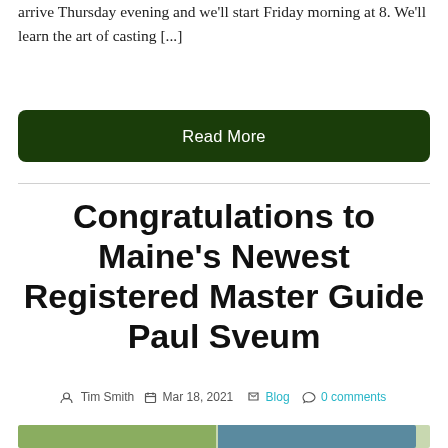arrive Thursday evening and we'll start Friday morning at 8. We'll learn the art of casting [...]
Read More
Congratulations to Maine's Newest Registered Master Guide Paul Sveum
Tim Smith  Mar 18, 2021  Blog  0 comments
[Figure (photo): Partial bottom strip showing beginning of post image]